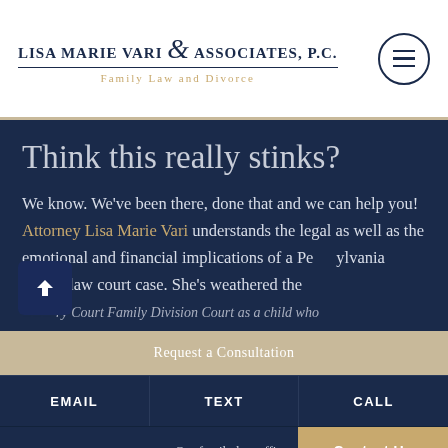LISA MARIE VARI & ASSOCIATES, P.C. — Family Law and Divorce
Think this really stinks?
We know. We've been there, done that and we can help you! Attorney Lisa Marie Vari understands the legal as well as the emotional and financial implications of a Pennsylvania family law court case. She's weathered the Common Court Family Division Court as a child who…
Request a Consultation
EMAIL  TEXT  CALL
Our family law office
Contact Us